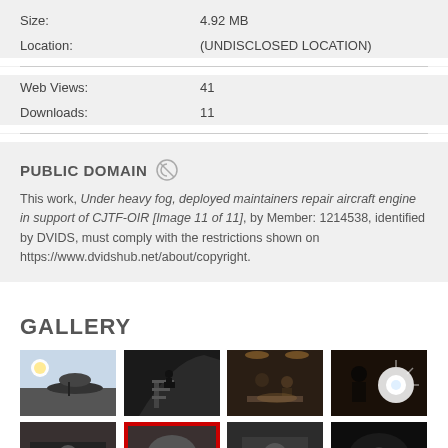Size: 4.92 MB
Location: (UNDISCLOSED LOCATION)
Web Views: 41
Downloads: 11
PUBLIC DOMAIN
This work, Under heavy fog, deployed maintainers repair aircraft engine in support of CJTF-OIR [Image 11 of 11], by Member: 1214538, identified by DVIDS, must comply with the restrictions shown on https://www.dvidshub.net/about/copyright.
GALLERY
[Figure (photo): Gallery thumbnail 1: aircraft with large radar dome on tarmac, silhouette against bright sky]
[Figure (photo): Gallery thumbnail 2: person climbing stairs on dark aircraft silhouette]
[Figure (photo): Gallery thumbnail 3: two people working in dimly lit aircraft interior]
[Figure (photo): Gallery thumbnail 4: person with bright light/glare in dark setting]
[Figure (photo): Gallery thumbnail 5: bottom row image 1]
[Figure (photo): Gallery thumbnail 6: bottom row image 2 with red border]
[Figure (photo): Gallery thumbnail 7: bottom row image 3]
[Figure (photo): Gallery thumbnail 8: bottom row image 4, dark]